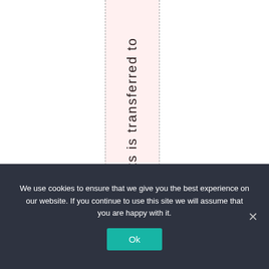[Figure (other): A table or document view with a pink-highlighted column containing vertical text reading 'Gts is transferred to' between two dashed vertical lines on a white background.]
We use cookies to ensure that we give you the best experience on our website. If you continue to use this site we will assume that you are happy with it.
Ok